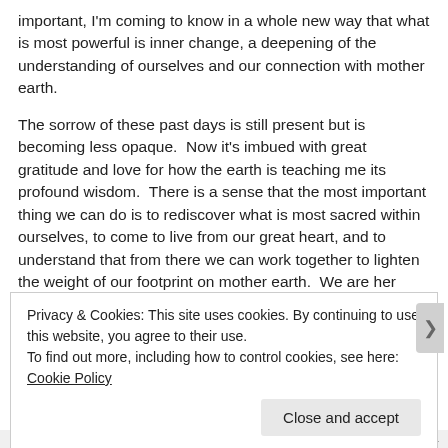important, I'm coming to know in a whole new way that what is most powerful is inner change, a deepening of the understanding of ourselves and our connection with mother earth.
The sorrow of these past days is still present but is becoming less opaque.  Now it's imbued with great gratitude and love for how the earth is teaching me its profound wisdom.  There is a sense that the most important thing we can do is to rediscover what is most sacred within ourselves, to come to live from our great heart, and to understand that from there we can work together to lighten the weight of our footprint on mother earth.  We are her caretakers and when we take good care of her, she offers us endless abundance.  When we take advantage of her
Privacy & Cookies: This site uses cookies. By continuing to use this website, you agree to their use.
To find out more, including how to control cookies, see here: Cookie Policy
Close and accept